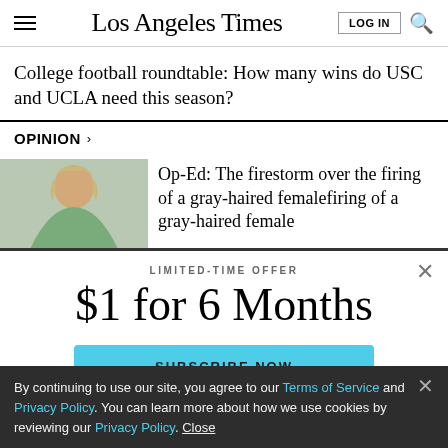Los Angeles Times
College football roundtable: How many wins do USC and UCLA need this season?
OPINION >
Op-Ed: The firestorm over the firing of a gray-haired female
LIMITED-TIME OFFER
$1 for 6 Months
SUBSCRIBE NOW
By continuing to use our site, you agree to our Terms of Service and Privacy Policy. You can learn more about how we use cookies by reviewing our Privacy Policy. Close